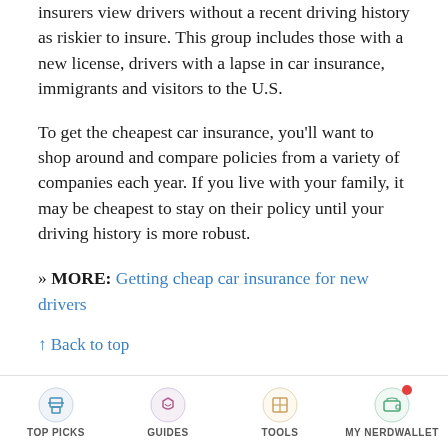insurers view drivers without a recent driving history as riskier to insure. This group includes those with a new license, drivers with a lapse in car insurance, immigrants and visitors to the U.S.
To get the cheapest car insurance, you'll want to shop around and compare policies from a variety of companies each year. If you live with your family, it may be cheapest to stay on their policy until your driving history is more robust.
» MORE: Getting cheap car insurance for new drivers
↑ Back to top
How to get cheap car insurance
[Figure (other): Bottom navigation bar with four icons: TOP PICKS (printer/layers icon), GUIDES (graduation cap icon), TOOLS (grid/table icon), MY NERDWALLET (wallet icon with red notification badge)]